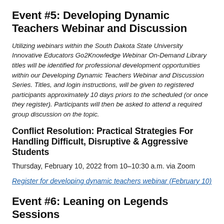Event #5: Developing Dynamic Teachers Webinar and Discussion
Utilizing webinars within the South Dakota State University Innovative Educators Go2Knowledge Webinar On-Demand Library titles will be identified for professional development opportunities within our Developing Dynamic Teachers Webinar and Discussion Series. Titles, and login instructions, will be given to registered participants approximately 10 days priors to the scheduled (or once they register). Participants will then be asked to attend a required group discussion on the topic.
Conflict Resolution: Practical Strategies For Handling Difficult, Disruptive & Aggressive Students
Thursday, February 10, 2022 from 10–10:30 a.m. via Zoom
Register for developing dynamic teachers webinar (February 10)
Event #6: Leaning on Legends Sessions